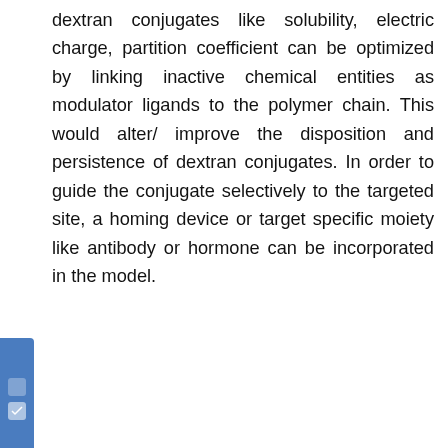dextran conjugates like solubility, electric charge, partition coefficient can be optimized by linking inactive chemical entities as modulator ligands to the polymer chain. This would alter/ improve the disposition and persistence of dextran conjugates. In order to guide the conjugate selectively to the targeted site, a homing device or target specific moiety like antibody or hormone can be incorporated in the model.
[Figure (illustration): Figure placeholder image showing a broken image icon labeled 'Figure']
Figure 4: Models for covalent drug fixation to dextran